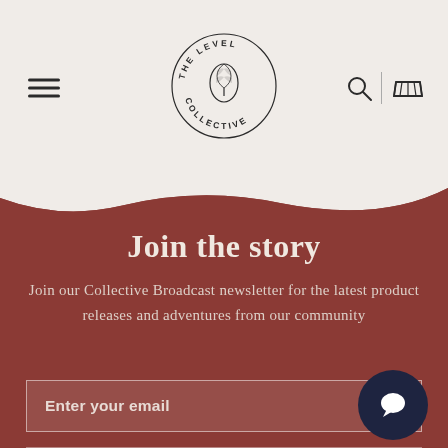[Figure (logo): The Level Collective circular logo with pinecone illustration and text around the circle]
Join the story
Join our Collective Broadcast newsletter for the latest product releases and adventures from our community
Enter your email